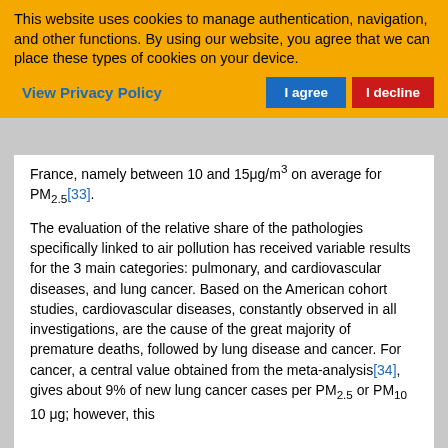This website uses cookies to manage authentication, navigation, and other functions. By using our website, you agree that we can place these types of cookies on your device.
View Privacy Policy
I agree
I decline
France, namely between 10 and 15μg/m³ on average for PM2.5[33].
The evaluation of the relative share of the pathologies specifically linked to air pollution has received variable results for the 3 main categories: pulmonary, and cardiovascular diseases, and lung cancer. Based on the American cohort studies, cardiovascular diseases, constantly observed in all investigations, are the cause of the great majority of premature deaths, followed by lung disease and cancer. For cancer, a central value obtained from the meta-analysis[34], gives about 9% of new lung cancer cases per PM2.5 or PM10 10 μg; however, this